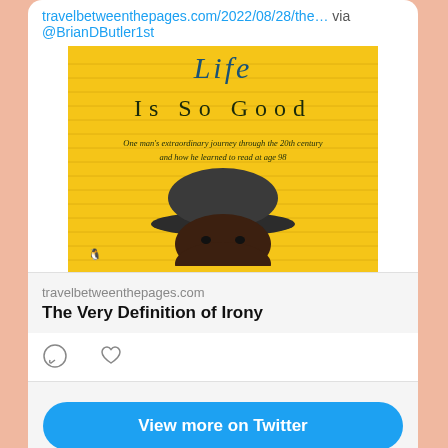travelbetweenthepages.com/2022/08/28/the… via @BrianDButler1st
[Figure (photo): Book cover of 'Life Is So Good' showing yellow background with horizontal lines, title text in serif font reading 'Life Is So Good', subtitle 'One man's extraordinary journey through the 20th century and how he learned to read at age 98', and a man wearing a dark hat visible from the nose up at the bottom of the cover, with a Penguin Books logo in the lower left.]
travelbetweenthepages.com
The Very Definition of Irony
View more on Twitter
Learn more about privacy on Twitter